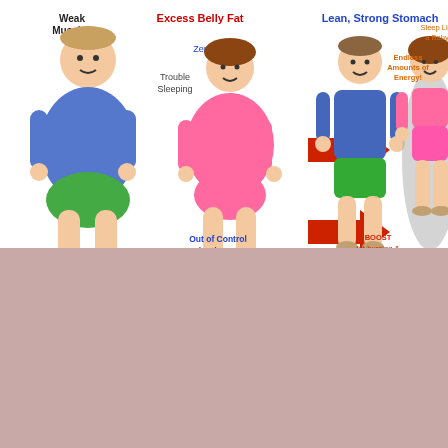[Figure (infographic): Before/after health infographic showing two overweight figures on the left (labeled Weak Muscles, Excess Belly Fat, Zero Energy, Trouble Sleeping, Out of Control Blood Sugar, Joint pain, Slow Metabolism, Hormones out of Balance) with red arrows pointing right to two fit figures (labeled Lean Strong Stomach, Endless Amounts of Energy, Sleep Like a Baby, BOOST fat-burning & sex-hormones, Easily Control Blood Sugar, FAST Metabolism)]
We use cookies on our website to give you the most relevant experience by remembering your preferences and repeat visits. By clicking “Accept”, you consent to the use of ALL the cookies.
Cookie settings | ACCEPT